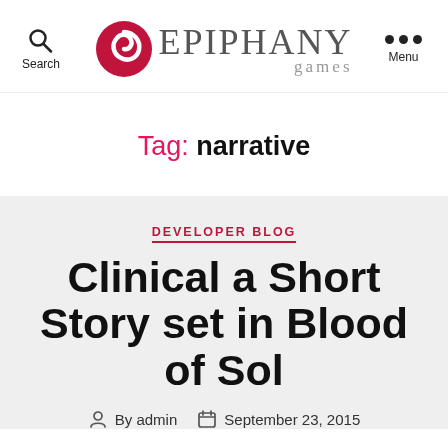[Figure (logo): Epiphany Games logo with red swirl icon and styled text]
Search | Epiphany Games | Menu
Tag: narrative
DEVELOPER BLOG
Clinical a Short Story set in Blood of Sol
By admin  September 23, 2015